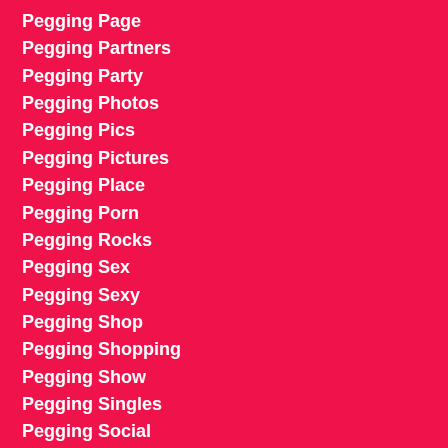Pegging Page
Pegging Partners
Pegging Party
Pegging Photos
Pegging Pics
Pegging Pictures
Pegging Place
Pegging Porn
Pegging Rocks
Pegging Sex
Pegging Sexy
Pegging Shop
Pegging Shopping
Pegging Show
Pegging Singles
Pegging Social
Pegging Store